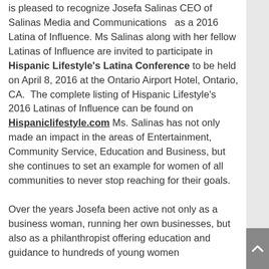is pleased to recognize Josefa Salinas CEO of Salinas Media and Communications as a 2016 Latina of Influence. Ms Salinas along with her fellow Latinas of Influence are invited to participate in Hispanic Lifestyle's Latina Conference to be held on April 8, 2016 at the Ontario Airport Hotel, Ontario, CA. The complete listing of Hispanic Lifestyle's 2016 Latinas of Influence can be found on Hispaniclifestyle.com Ms. Salinas has not only made an impact in the areas of Entertainment, Community Service, Education and Business, but she continues to set an example for women of all communities to never stop reaching for their goals.
Over the years Josefa been active not only as a business woman, running her own businesses, but also as a philanthropist offering education and guidance to hundreds of young women